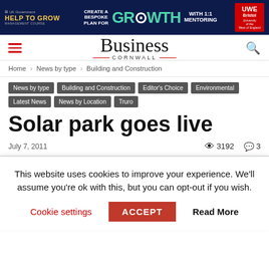[Figure (screenshot): Advertisement banner for UK Government Help to Grow scheme with UWE Bristol, dark blue background with text CREATE A BESPOKE PLAN FOR GROWTH WITH 1:1 MENTORING]
Business Cornwall
Home › News by type › Building and Construction
News by type
Building and Construction
Editor's Choice
Environmental
Latest News
News by Location
Truro
Solar park goes live
July 7, 2011   👁 3192   💬 3
This website uses cookies to improve your experience. We'll assume you're ok with this, but you can opt-out if you wish.